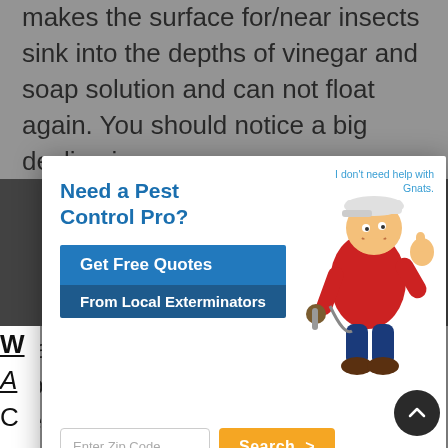makes the surface for/near insects sink into the depths of vinegar and soap solution and can not float again. You should notice a big decline in g...
[Figure (infographic): Pest control advertisement modal overlay showing a cartoon exterminator mascot in red uniform giving thumbs up, with headline 'Need a Pest Control Pro?', blue CTA buttons 'Get Free Quotes / From Local Exterminators', zip code input field, and orange Search button. Top-right has dismiss link 'I don't need help with Gnats.']
capture all insects,  gnats will touch the surface of the water and leave again. It is also a good